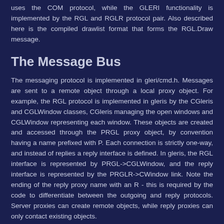uses the COM protocol, while the GLERI functionality is implemented by the RGL and RGLR protocol pair. Also described here is the compiled drawlist format that forms the RGL.Draw message.
The Message Bus
The messaging protocol is implemented in gleri/cmd.h. Messages are sent to a remote object through a local proxy object. For example, the RGL protocol is implemented in gleris by the CGleris and CGLWindow classes, CGleris managing the open windows and CGLWindow representing each window. These objects are created and accessed through the PRGL proxy object, by convention having a name prefixed with P. Each connection is strictly one-way, and instead of replies a reply interface is defined. In gleris, the RGL interface is represented by PRGL->CGLWindow, and the reply interface is represented by the PRGLR->CWindow link. Note the ending of the reply proxy name with an R - this is required by the code to differentiate between the outgoing and reply protocols. Server proxies can create remote objects, while reply proxies can only contact existing objects.